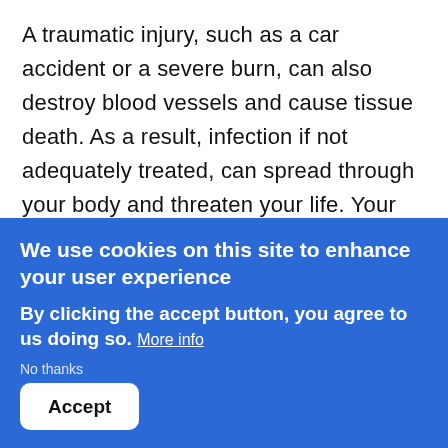A traumatic injury, such as a car accident or a severe burn, can also destroy blood vessels and cause tissue death. As a result, infection if not adequately treated, can spread through your body and threaten your life. Your medical team will make every effort to save your limb by surgically replacing or repairing your damaged blood vessels or using donor tissue. However, if these measures do not save your limb, you will...
We use cookies on this site to enhance your user experience
By clicking the accept button, you agree to us doing so. More info
No thanks
Accept